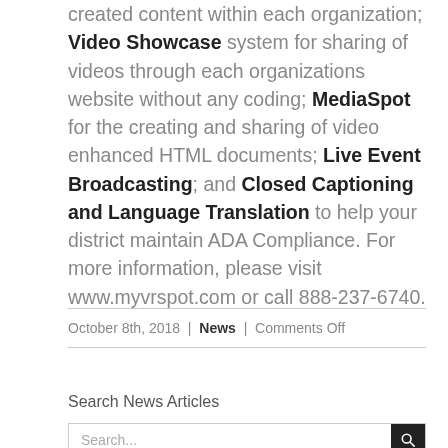created content within each organization; Video Showcase system for sharing of videos through each organizations website without any coding; MediaSpot for the creating and sharing of video enhanced HTML documents; Live Event Broadcasting; and Closed Captioning and Language Translation to help your district maintain ADA Compliance. For more information, please visit www.myvrspot.com or call 888-237-6740.
October 8th, 2018 | News | Comments Off
Search News Articles
Search...